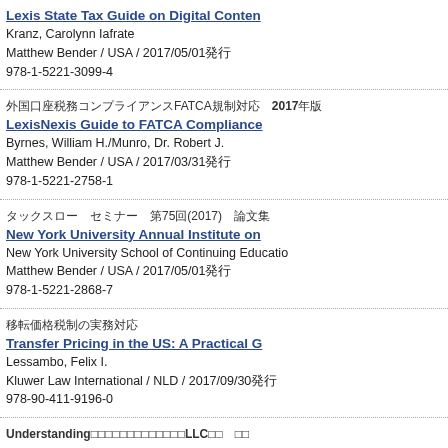Lexis State Tax Guide on Digital Content
Kranz, Carolynn Iafrate
Matthew Bender / USA / 2017/05/01発行
978-1-5221-3099-4
外国口座税務コンプライアンスFATCA規制対応　2017年版
LexisNexis Guide to FATCA Compliance
Byrnes, William H./Munro, Dr. Robert J.
Matthew Bender / USA / 2017/03/31発行
978-1-5221-2758-1
タックスロー　セミナー　第75回(2017)　論文集
New York University Annual Institute on
New York University School of Continuing Education
Matthew Bender / USA / 2017/05/01発行
978-1-5221-2868-7
移転価格税制の実務対応
Transfer Pricing in the US: A Practical G
Lessambo, Felix I.
Kluwer Law International / NLD / 2017/09/30発行
978-90-411-9196-0
Understanding□□□□□□□□□□□□□LLC□□　□□